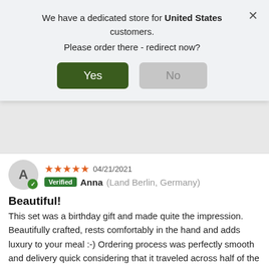We have a dedicated store for United States customers. Please order there - redirect now?
[Figure (screenshot): Dialog with Yes and No buttons for redirect prompt]
04/21/2021
Verified Anna (Land Berlin, Germany)
Beautiful!
This set was a birthday gift and made quite the impression. Beautifully crafted, rests comfortably in the hand and adds luxury to your meal :-) Ordering process was perfectly smooth and delivery quick considering that it traveled across half of the globe. Looking forward to ordering more kitchenware here ^^